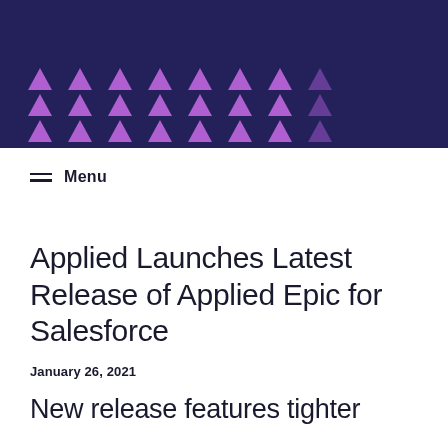[Figure (illustration): Dark navy blue header banner with rows of purple upward-pointing triangles arranged in a decorative pattern across three rows]
Menu
Applied Launches Latest Release of Applied Epic for Salesforce
January 26, 2021
New release features tighter